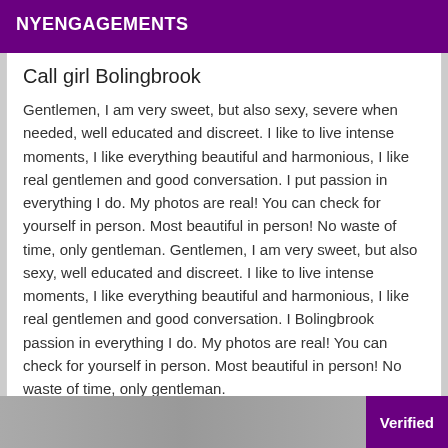NYENGAGEMENTS
Call girl Bolingbrook
Gentlemen, I am very sweet, but also sexy, severe when needed, well educated and discreet. I like to live intense moments, I like everything beautiful and harmonious, I like real gentlemen and good conversation. I put passion in everything I do. My photos are real! You can check for yourself in person. Most beautiful in person! No waste of time, only gentleman. Gentlemen, I am very sweet, but also sexy, well educated and discreet. I like to live intense moments, I like everything beautiful and harmonious, I like real gentlemen and good conversation. I Bolingbrook passion in everything I do. My photos are real! You can check for yourself in person. Most beautiful in person! No waste of time, only gentleman.
[Figure (photo): Bottom strip showing a grayscale photo with a purple Verified badge in the bottom right corner]